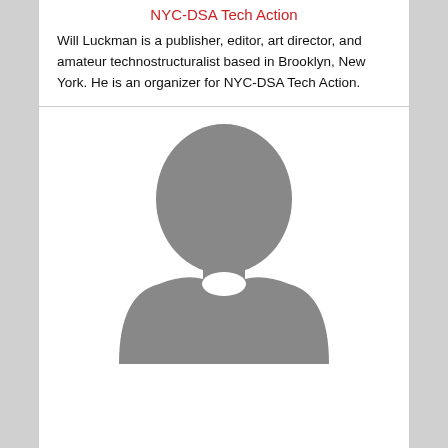NYC-DSA Tech Action
Will Luckman is a publisher, editor, art director, and amateur technostructuralist based in Brooklyn, New York. He is an organizer for NYC-DSA Tech Action.
[Figure (photo): Generic placeholder silhouette avatar image of a person (head and shoulders), gray on white background.]